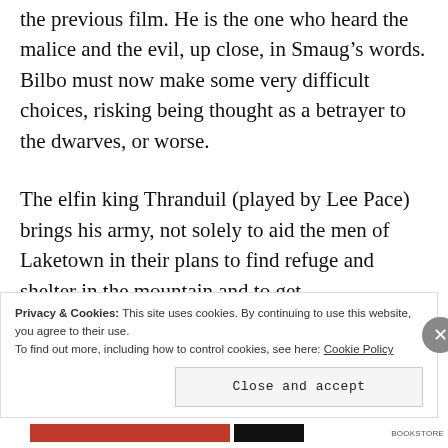the previous film. He is the one who heard the malice and the evil, up close, in Smaug’s words. Bilbo must now make some very difficult choices, risking being thought as a betrayer to the dwarves, or worse.
The elfin king Thranduil (played by Lee Pace) brings his army, not solely to aid the men of Laketown in their plans to find refuge and shelter in the mountain and to get
Privacy & Cookies: This site uses cookies. By continuing to use this website, you agree to their use.
To find out more, including how to control cookies, see here: Cookie Policy
Close and accept